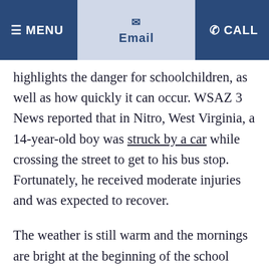MENU  Email  CALL
highlights the danger for schoolchildren, as well as how quickly it can occur. WSAZ 3 News reported that in Nitro, West Virginia, a 14-year-old boy was struck by a car while crossing the street to get to his bus stop. Fortunately, he received moderate injuries and was expected to recover.
The weather is still warm and the mornings are bright at the beginning of the school year, which may give many parents and children a false sense of security. All too soon, mornings will become darker, and roads will often be icy before the sun is up, adding to the dangers